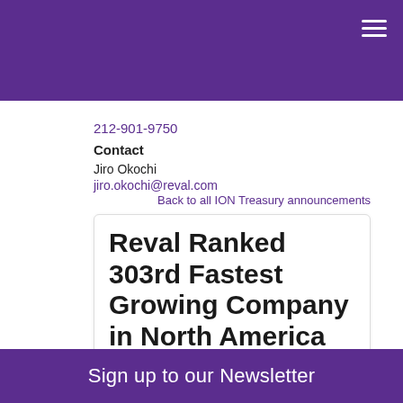212-901-9750
Contact
Jiro Okochi
jiro.okochi@reval.com
Back to all ION Treasury announcements
Reval Ranked 303rd Fastest Growing Company in North America on Deloitte's 2013 Technology Fast 500™
Attributes 334 Percent Revenue Growth to
Sign up to our Newsletter